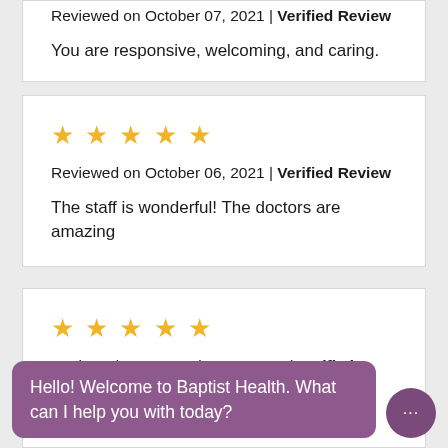Reviewed on October 07, 2021 | Verified Review
You are responsive, welcoming, and caring.
★★★★★
Reviewed on October 06, 2021 | Verified Review
The staff is wonderful! The doctors are amazing
★★★★★
Reviewed on September 23, 2021 | Verified Review
Hello! Welcome to Baptist Health. What can I help you with today?